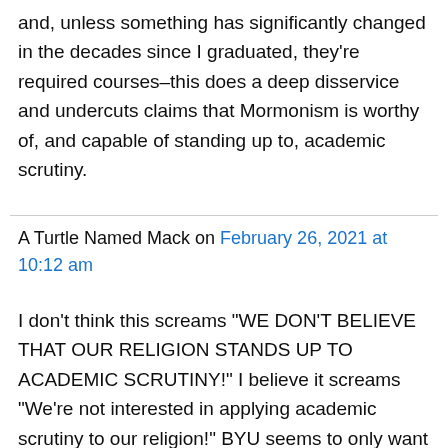and, unless something has significantly changed in the decades since I graduated, they're required courses–this does a deep disservice and undercuts claims that Mormonism is worthy of, and capable of standing up to, academic scrutiny.
A Turtle Named Mack on February 26, 2021 at 10:12 am
I don't think this screams "WE DON'T BELIEVE THAT OUR RELIGION STANDS UP TO ACADEMIC SCRUTINY!" I believe it screams "We're not interested in applying academic scrutiny to our religion!" BYU seems to only want students to approach their religion from a